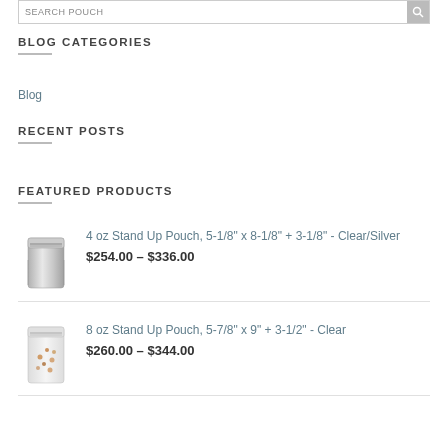SEARCH POUCH
BLOG CATEGORIES
Blog
RECENT POSTS
FEATURED PRODUCTS
4 oz Stand Up Pouch, 5-1/8" x 8-1/8" + 3-1/8" - Clear/Silver
$254.00 – $336.00
8 oz Stand Up Pouch, 5-7/8" x 9" + 3-1/2" - Clear
$260.00 – $344.00